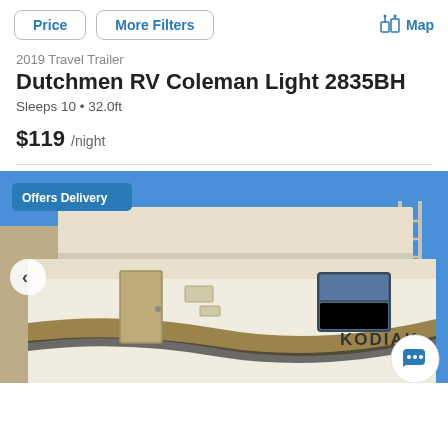Price | More Filters | Map
2019 Travel Trailer
Dutchmen RV Coleman Light 2835BH
Sleeps 10 • 32.0ft
$119 /night
[Figure (photo): Photo of a Kodiak travel trailer RV parked with awning extended, blue sky background, showing exterior side with door, window, and swoosh graphics. Badge reads 'Offers Delivery'.]